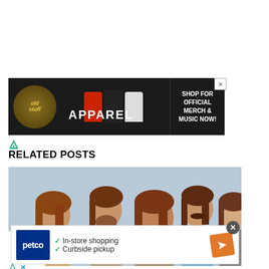[Figure (photo): Advertisement banner for apparel/merch with dark background showing clothing items. Text: 'old stuff' logo, 'APPAREL', 'SHOP FOR OFFICIAL MERCH & MUSIC NOW!']
RELATED POSTS
[Figure (photo): Group photo of five men with long hair and beards, appearing to be a 1970s rock band, against a light blue/grey background.]
[Figure (photo): Petco advertisement overlay showing Petco logo, checkmarks for 'In-store shopping' and 'Curbside pickup', and navigation arrow icon.]